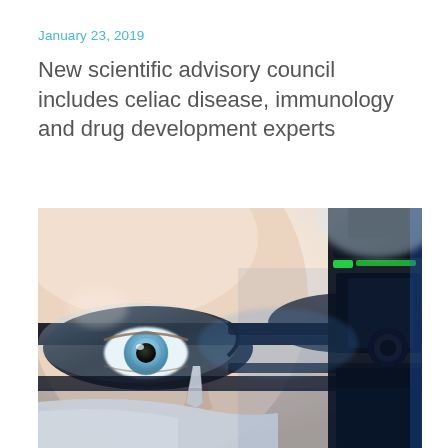January 23, 2019
New scientific advisory council includes celiac disease, immunology and drug development experts
[Figure (photo): Close-up photograph of a scientist wearing safety goggles and a white lab coat, peering through or near a microscope. The image shows the person's blue eyes through the clear protective glasses, with laboratory equipment visible on the right side.]